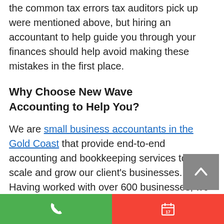the common tax errors tax auditors pick up were mentioned above, but hiring an accountant to help guide you through your finances should help avoid making these mistakes in the first place.
Why Choose New Wave Accounting to Help You?
We are small business accountants in the Gold Coast that provide end-to-end accounting and bookkeeping services to help scale and grow our client's businesses. Having worked with over 600 businesses, we understand how small businesses tick, giving you